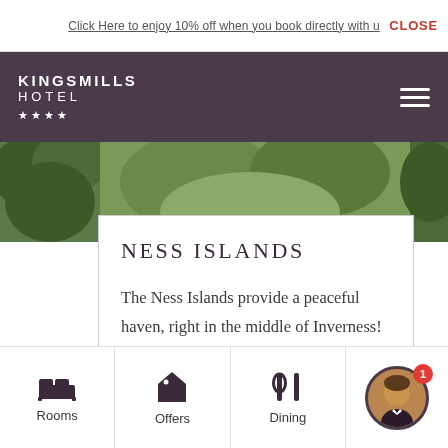Click Here to enjoy 10% off when you book directly with us   CLOSE
[Figure (logo): Kingsmills Hotel four-star logo with hamburger menu]
[Figure (photo): Green outdoor/nature photo strip]
NESS ISLANDS
The Ness Islands provide a peaceful haven, right in the middle of Inverness! Located on the River Ness, opposite Bught Park, they are ...
FIND OUT MORE
Rooms   Offers   Dining